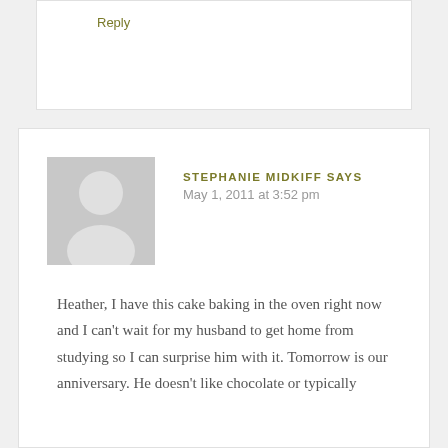Reply
STEPHANIE MIDKIFF SAYS
May 1, 2011 at 3:52 pm
[Figure (illustration): Default grey avatar placeholder showing a silhouette of a person (circle head, rounded shoulders)]
Heather, I have this cake baking in the oven right now and I can't wait for my husband to get home from studying so I can surprise him with it. Tomorrow is our anniversary. He doesn't like chocolate or typically